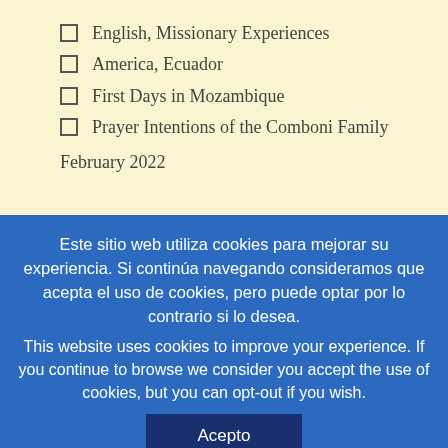English, Missionary Experiences
America, Ecuador
First Days in Mozambique
Prayer Intentions of the Comboni Family
February 2022
Este sitio web utiliza cookies para mejorar su experiencia. Si continúa navegando consideramos que acepta el uso de cookies, pero puede optar por lo contrario si lo desea.
This website uses cookies to improve your experience. If you continue to browse we consider you accept the use of cookies, but you can opt-out if you wish.
Acepto
Puede obtener más información - You may have more information here